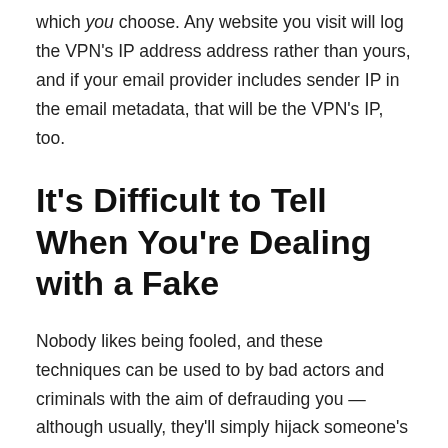which you choose. Any website you visit will log the VPN's IP address address rather than yours, and if your email provider includes sender IP in the email metadata, that will be the VPN's IP, too.
It's Difficult to Tell When You're Dealing with a Fake
Nobody likes being fooled, and these techniques can be used to by bad actors and criminals with the aim of defrauding you — although usually, they'll simply hijack someone's social media accounts or directly steal data.
But if you're like most regular people, all you want is to be left alone to conduct your internet affairs